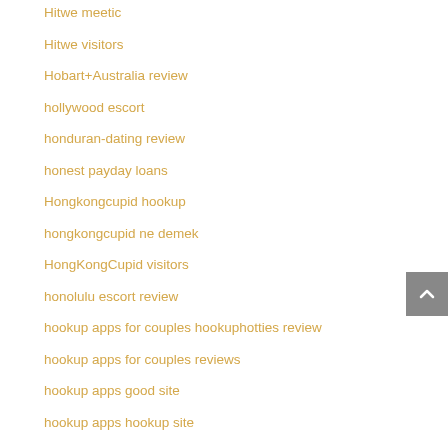Hitwe meetic
Hitwe visitors
Hobart+Australia review
hollywood escort
honduran-dating review
honest payday loans
Hongkongcupid hookup
hongkongcupid ne demek
HongKongCupid visitors
honolulu escort review
hookup apps for couples hookuphotties review
hookup apps for couples reviews
hookup apps good site
hookup apps hookup site
hookup craigslist hookup review